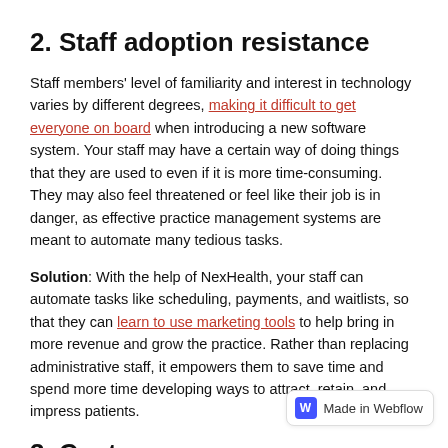2. Staff adoption resistance
Staff members' level of familiarity and interest in technology varies by different degrees, making it difficult to get everyone on board when introducing a new software system. Your staff may have a certain way of doing things that they are used to even if it is more time-consuming. They may also feel threatened or feel like their job is in danger, as effective practice management systems are meant to automate many tedious tasks.
Solution: With the help of NexHealth, your staff can automate tasks like scheduling, payments, and waitlists, so that they can learn to use marketing tools to help bring in more revenue and grow the practice. Rather than replacing administrative staff, it empowers them to save time and spend more time developing ways to attract, retain, and impress patients.
3. Cost
EHR implementation can be expensive, costing between $15,000 - $70,000 per provider. While this is a fixed cost